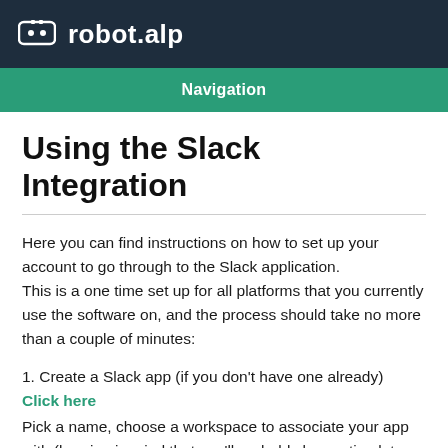robot.alp
Navigation
Using the Slack Integration
Here you can find instructions on how to set up your account to go through to the Slack application. This is a one time set up for all platforms that you currently use the software on, and the process should take no more than a couple of minutes:
1. Create a Slack app (if you don't have one already)
Click here
Pick a name, choose a workspace to associate your app with (bearing in mind that you'll probably be posting lots